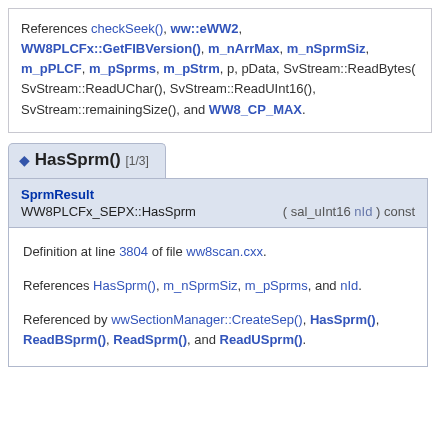References checkSeek(), ww::eWW2, WW8PLCFx::GetFIBVersion(), m_nArrMax, m_nSprmSiz, m_pPLCF, m_pSprms, m_pStrm, p, pData, SvStream::ReadBytes(), SvStream::ReadUChar(), SvStream::ReadUInt16(), SvStream::remainingSize(), and WW8_CP_MAX.
◆ HasSprm() [1/3]
SprmResult WW8PLCFx_SEPX::HasSprm ( sal_uInt16 nId ) const
Definition at line 3804 of file ww8scan.cxx.
References HasSprm(), m_nSprmSiz, m_pSprms, and nId.
Referenced by wwSectionManager::CreateSep(), HasSprm(), ReadBSprm(), ReadSprm(), and ReadUSprm().